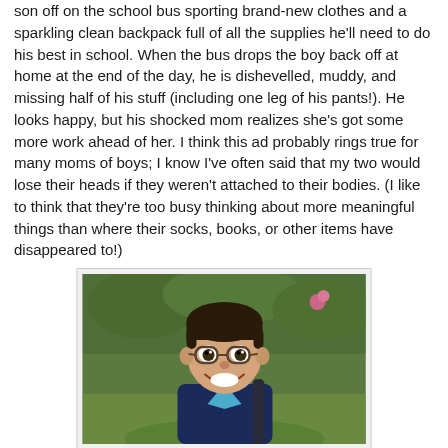son off on the school bus sporting brand-new clothes and a sparkling clean backpack full of all the supplies he'll need to do his best in school. When the bus drops the boy back off at home at the end of the day, he is dishevelled, muddy, and missing half of his stuff (including one leg of his pants!). He looks happy, but his shocked mom realizes she's got some more work ahead of her. I think this ad probably rings true for many moms of boys; I know I've often said that my two would lose their heads if they weren't attached to their bodies. (I like to think that they're too busy thinking about more meaningful things than where their socks, books, or other items have disappeared to!)
[Figure (photo): A young boy with short dark hair wearing round glasses, smiling broadly, dressed in a dark navy and light blue polo shirt with a backpack strap visible. Green garden with flowers in the background.]